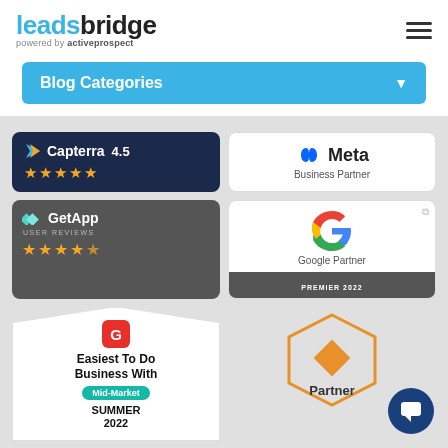[Figure (logo): LeadsBridge logo powered by ActiveProspect]
[Figure (infographic): Hamburger menu icon]
Blog Categories
[Figure (logo): Capterra 4.5 stars badge on dark blue background]
[Figure (logo): GetApp User Reviews 4.5 stars badge on dark background]
[Figure (logo): Meta Business Partner badge]
[Figure (logo): Google Partner Premier 2022 badge]
[Figure (logo): G2 Easiest To Do Business With Mid-Market Summer 2022 badge]
[Figure (logo): Partner hexagon badge (orange)]